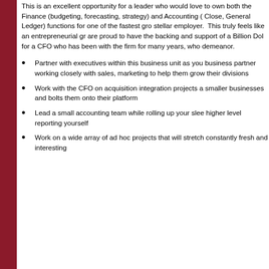This is an excellent opportunity for a leader who would love to own both the Finance (budgeting, forecasting, strategy) and Accounting (Close, General Ledger) functions for one of the fastest growing stellar employers. This truly feels like an entrepreneurial group who are proud to have the backing and support of a Billion Dollar firm, for a CFO who has been with the firm for many years, who sets the demeanor.
Partner with executives within this business unit as your business partner working closely with sales, marketing to help them grow their divisions
Work with the CFO on acquisition integration projects as smaller businesses and bolts them onto their platform
Lead a small accounting team while rolling up your sleeves higher level reporting yourself
Work on a wide array of ad hoc projects that will stretch constantly fresh and interesting